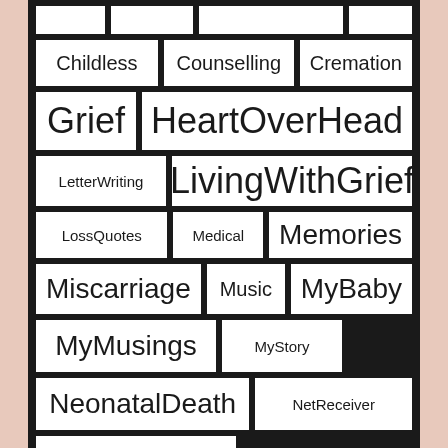[Figure (infographic): Tag cloud / word cloud on a dark background showing various blog/social media tags in white boxes with varying font sizes. Tags include: Childless, Counselling, Cremation, Grief, HeartOverHead, LetterWriting, LivingWithGrief, LossQuotes, Medical, Memories, Miscarriage, Music, MyBaby, MyMusings, MyStory, NeonatalDeath, NetReceiver, Paralleluniverse, SelfAwarenessForParents, ShortStory, SocialMedia, Summer]